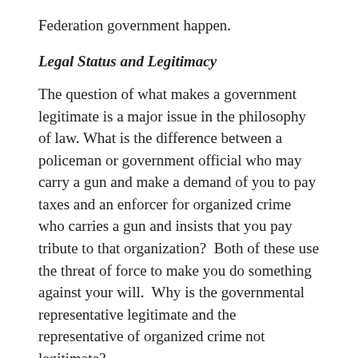Federation government happen.
Legal Status and Legitimacy
The question of what makes a government legitimate is a major issue in the philosophy of law. What is the difference between a policeman or government official who may carry a gun and make a demand of you to pay taxes and an enforcer for organized crime who carries a gun and insists that you pay tribute to that organization?  Both of these use the threat of force to make you do something against your will.  Why is the governmental representative legitimate and the representative of organized crime not legitimate?